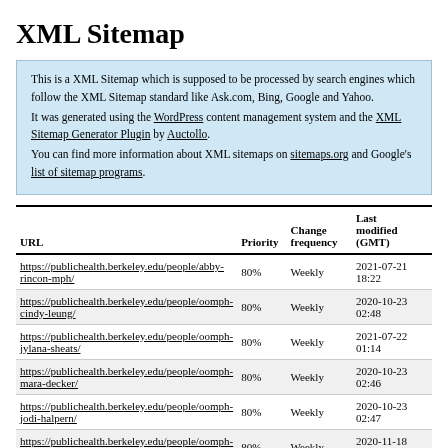XML Sitemap
This is a XML Sitemap which is supposed to be processed by search engines which follow the XML Sitemap standard like Ask.com, Bing, Google and Yahoo.
It was generated using the WordPress content management system and the XML Sitemap Generator Plugin by Auctollo.
You can find more information about XML sitemaps on sitemaps.org and Google's list of sitemap programs.
| URL | Priority | Change frequency | Last modified (GMT) |
| --- | --- | --- | --- |
| https://publichealth.berkeley.edu/people/abby-rincon-mph/ | 80% | Weekly | 2021-07-21 18:22 |
| https://publichealth.berkeley.edu/people/oomph-cindy-leung/ | 80% | Weekly | 2020-10-23 02:48 |
| https://publichealth.berkeley.edu/people/oomph-jylana-sheats/ | 80% | Weekly | 2021-07-22 01:14 |
| https://publichealth.berkeley.edu/people/oomph-mara-decker/ | 80% | Weekly | 2020-10-23 02:46 |
| https://publichealth.berkeley.edu/people/oomph-jodi-halpern/ | 80% | Weekly | 2020-10-23 02:47 |
| https://publichealth.berkeley.edu/people/oomph-evan-vandommelen-gonzalez/ | 80% | Weekly | 2020-11-18 06:38 |
| https://publichealth.berkeley.edu/people/oomph-... | 80% | Weekly | 2021-07-22 ... |